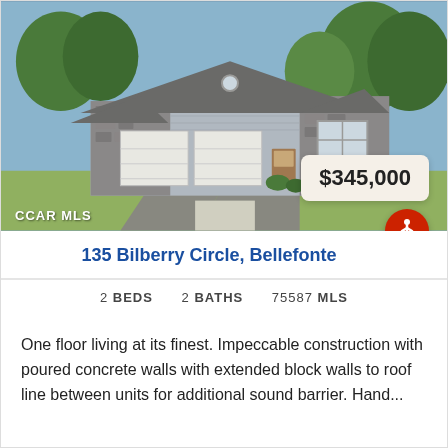[Figure (photo): Exterior photo of a single-story ranch-style home with gray siding, stone accents, two-car garage, and green lawn. Price badge showing $345,000 in lower right. CCAR MLS watermark in lower left.]
135 Bilberry Circle, Bellefonte
2 BEDS   2 BATHS   75587 MLS
One floor living at its finest. Impeccable construction with poured concrete walls with extended block walls to roof line between units for additional sound barrier. Hand...